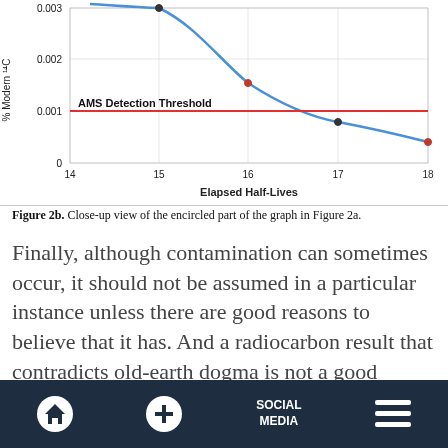[Figure (continuous-plot): Line graph showing % Modern 14C (y-axis, 0 to 0.003) vs Elapsed Half-Lives (x-axis, 14 to 18). A blue curve decreases from ~0.003 at x=15 through ~0.0015 at x=16, ~0.0008 at x=17, ~0.0004 at x=18. A horizontal red line at y=0.001 is labeled 'AMS Detection Threshold'.]
Figure 2b. Close-up view of the encircled part of the graph in Figure 2a.
Finally, although contamination can sometimes occur, it should not be assumed in a particular instance unless there are good reasons to believe that it has. And a radiocarbon result that contradicts old-earth dogma is not a good enough reason by itself to invoke contamination!
Home | + | SOCIAL MEDIA | Menu